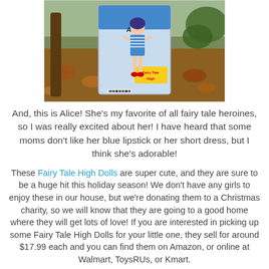[Figure (photo): Photo of an Alice in Wonderland Fairy Tale High doll in packaging, set against a background of autumn leaves and greenery outdoors.]
And, this is Alice! She's my favorite of all fairy tale heroines, so I was really excited about her! I have heard that some moms don't like her blue lipstick or her short dress, but I think she's adorable!
These Fairy Tale High Dolls are super cute, and they are sure to be a huge hit this holiday season! We don't have any girls to enjoy these in our house, but we're donating them to a Christmas charity, so we will know that they are going to a good home where they will get lots of love! If you are interested in picking up some Fairy Tale High Dolls for your little one, they sell for around $17.99 each and you can find them on Amazon, or online at Walmart, ToysRUs, or Kmart.